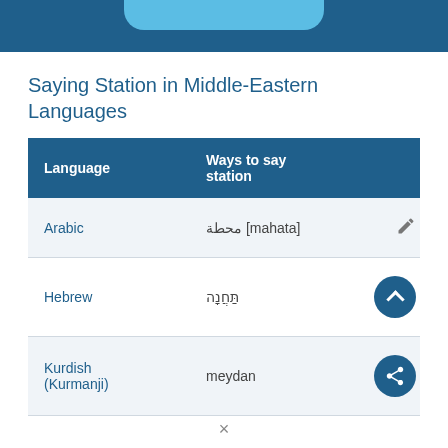Saying Station in Middle-Eastern Languages
| Language | Ways to say station |
| --- | --- |
| Arabic | محطة [mahata] |
| Hebrew | תַּחֲנָה |
| Kurdish (Kurmanji) | meydan |